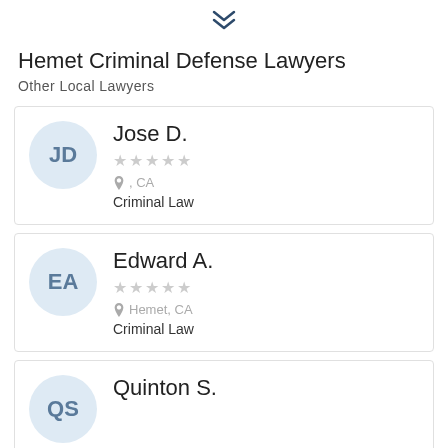[Figure (other): Chevron down arrow icon]
Hemet Criminal Defense Lawyers
Other Local Lawyers
Jose D.
★★★★★
, CA
Criminal Law
Edward A.
★★★★★
Hemet, CA
Criminal Law
Quinton S.